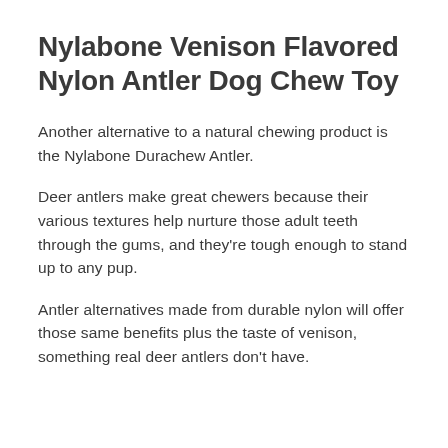Nylabone Venison Flavored Nylon Antler Dog Chew Toy
Another alternative to a natural chewing product is the Nylabone Durachew Antler.
Deer antlers make great chewers because their various textures help nurture those adult teeth through the gums, and they're tough enough to stand up to any pup.
Antler alternatives made from durable nylon will offer those same benefits plus the taste of venison, something real deer antlers don't have.